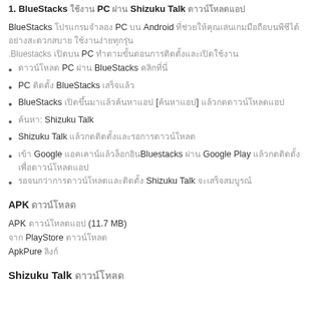1. BlueStacks ใช้งาน PC ผ่าน Shizuku Talk ดาวน์โหลดแอป
BlueStacks โปรแกรมจำลอง PC บน Android ที่ช่วยให้คุณเล่นเกมมือถือบนพีซีได้อย่างสะดวก.Bluestacks เปิดบน PC ทำตามขั้นตอนการติดตั้งและเปิดใช้งาน
ดาวน์โหลด PC ผ่าน BlueStacks คลิกที่นี่
PC ติดตั้ง BlueStacks เสร็จแล้ว
BlueStacks เปิดขึ้นมาแล้วค้นหาแอป [ค้นหาแอป] แล้วกดดาวน์โหลดแอป
ค้นหา: Shizuku Talk
Shizuku Talk แล้วกดติดตั้งและรอการดาวน์โหลด
เข้า Google แอคเคาน์แล้วล็อกอินBluestacks ผ่าน Google Play แล้วกดติดตั้งเพื่อดาวน์โหลดแอป
รอจนกว่าการดาวน์โหลดและติดตั้ง Shizuku Talk จะเสร็จสมบูรณ์
APK ดาวน์โหลด
APK ดาวน์โหลดแอป (11.7 MB)
จาก PlayStore ดาวน์โหลด
ApkPure ลิงก์
Shizuku Talk ดาวน์โหลด